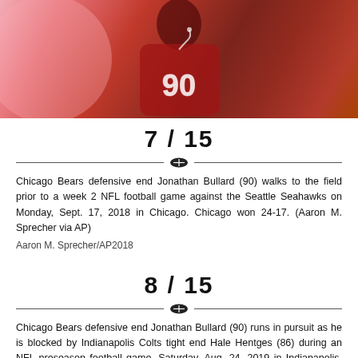[Figure (photo): Chicago Bears defensive end Jonathan Bullard (90) wearing red jersey, illuminated by pink/red lighting, walking to the field]
7 / 15
Chicago Bears defensive end Jonathan Bullard (90) walks to the field prior to a week 2 NFL football game against the Seattle Seahawks on Monday, Sept. 17, 2018 in Chicago. Chicago won 24-17. (Aaron M. Sprecher via AP)
Aaron M. Sprecher/AP2018
8 / 15
Chicago Bears defensive end Jonathan Bullard (90) runs in pursuit as he is blocked by Indianapolis Colts tight end Hale Hentges (86) during an NFL preseason football game, Saturday, Aug. 24, 2019 in Indianapolis. The Bears defeated the Colts 27-17. (Scott Boehm via AP)